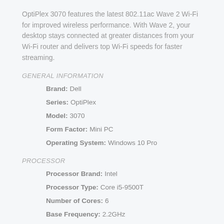OptiPlex 3070 features the latest 802.11ac Wave 2 Wi-Fi for improved wireless performance. With Wave 2, your desktop stays connected at greater distances from your Wi-Fi router and delivers top Wi-Fi speeds for faster streaming.
GENERAL INFORMATION
Brand: Dell
Series: OptiPlex
Model: 3070
Form Factor: Mini PC
Operating System: Windows 10 Pro
PROCESSOR
Processor Brand: Intel
Processor Type: Core i5-9500T
Number of Cores: 6
Base Frequency: 2.2GHz
Turbo Frequency: 3.7GHz
SmartCache: 9MB